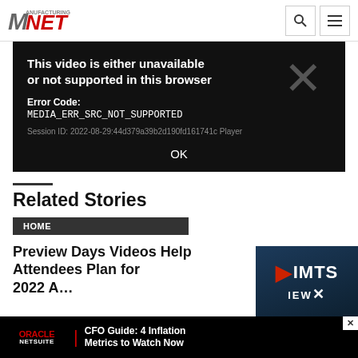Manufacturing.Net
[Figure (screenshot): Video player error dialog on black background showing 'This video is either unavailable or not supported in this browser', Error Code: MEDIA_ERR_SRC_NOT_SUPPORTED, Session ID: 2022-08-29:44d379a39b2d190fd161741c Player, with large X icon and OK button]
Related Stories
HOME
Preview Days Videos Help Attendees Plan for IMTS 2022
[Figure (screenshot): Oracle NetSuite advertisement: CFO Guide: 4 Inflation Metrics to Watch Now]
[Figure (logo): IMTS preview logo in bottom right corner]